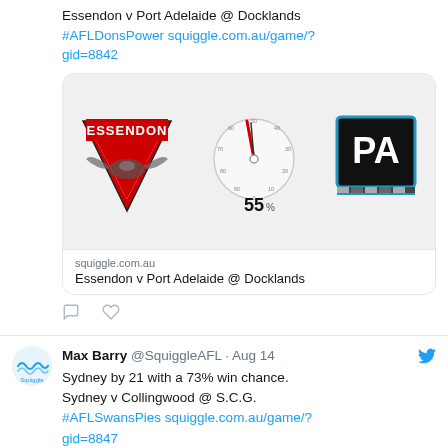Essendon v Port Adelaide @ Docklands #AFLDonsPower squiggle.com.au/game/?gid=8842
[Figure (infographic): Card image showing Essendon logo, a probability gauge showing 55%, and Port Adelaide logo]
squiggle.com.au
Essendon v Port Adelaide @ Docklands
Max Barry @SquiggleAFL · Aug 14
Sydney by 21 with a 73% win chance. Sydney v Collingwood @ S.C.G. #AFLSwansPies squiggle.com.au/game/?gid=8847